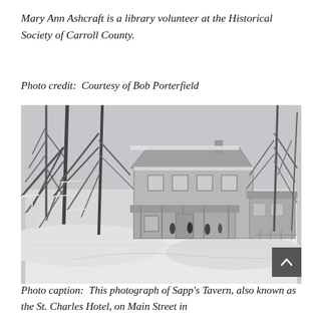Mary Ann Ashcraft is a library volunteer at the Historical Society of Carroll County.
Photo credit:  Courtesy of Bob Porterfield
[Figure (photo): Black and white photograph of a two-story building (Sapp's Tavern / St. Charles Hotel) in winter, surrounded by snow-covered trees with drooping ice-laden branches. Several people are visible standing near the entrance of the building.]
Photo caption:  This photograph of Sapp's Tavern, also known as the St. Charles Hotel, on Main Street in